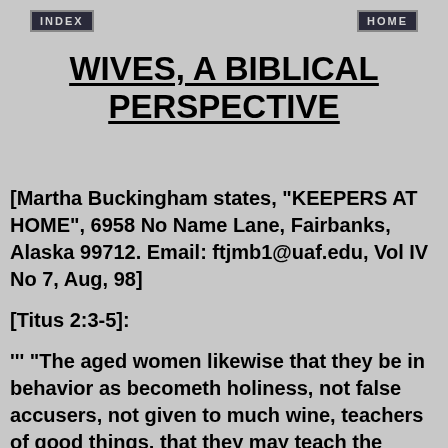INDEX    HOME
WIVES, A BIBLICAL PERSPECTIVE
[Martha Buckingham states, "KEEPERS AT HOME", 6958 No Name Lane, Fairbanks, Alaska 99712. Email: ftjmb1@uaf.edu, Vol IV No 7, Aug, 98]
[Titus 2:3-5]:
''' "The aged women likewise that they be in behavior as becometh holiness, not false accusers, not given to much wine, teachers of good things, that they may teach the younger women to be sober-